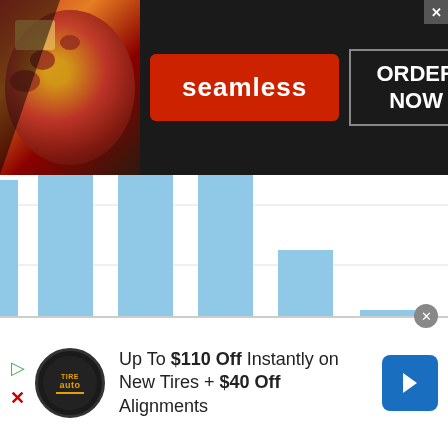[Figure (screenshot): Seamless food delivery advertisement banner with pizza image on left, red 'seamless' logo in center, and 'ORDER NOW' button on right with dark background]
[Figure (stacked-bar-chart): Partial stacked bar chart showing county data with light blue and dark blue bars. X-axis labels visible: (partial county), New York County, Queens County, Kings County, Nassau County, Bergen County. Bars are cropped at top.]
[Figure (screenshot): Tire Auto advertisement banner: 'Up To $110 Off Instantly on New Tires + $40 Off Alignments' with Tire Auto logo on left and blue navigation arrow icon on right]